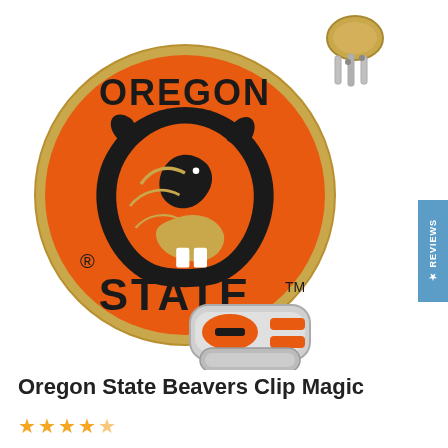[Figure (photo): Product photo of Oregon State Beavers Clip Magic golf ball marker. Shows a large round orange enamel ball marker with Oregon State Beavers logo (beaver head mascot) and text 'OREGON STATE'. Also shows a magnetic hat clip in chrome/orange and a separate gold-colored clip mechanism in the upper right corner.]
Oregon State Beavers Clip Magic
[Figure (other): Star rating display showing approximately 4.5 out of 5 stars in orange/gold color]